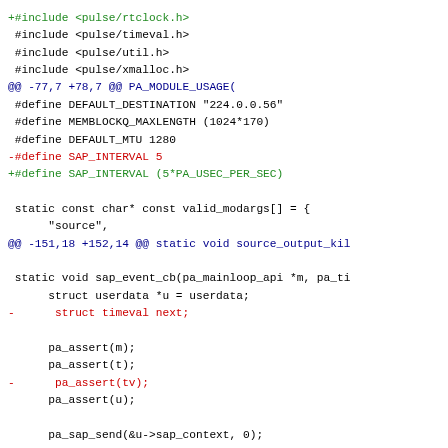+#include <pulse/rtclock.h>
 #include <pulse/timeval.h>
 #include <pulse/util.h>
 #include <pulse/xmalloc.h>
@@ -77,7 +78,7 @@ PA_MODULE_USAGE(
 #define DEFAULT_DESTINATION "224.0.0.56"
 #define MEMBLOCKQ_MAXLENGTH (1024*170)
 #define DEFAULT_MTU 1280
-#define SAP_INTERVAL 5
+#define SAP_INTERVAL (5*PA_USEC_PER_SEC)

 static const char* const valid_modargs[] = {
      "source",
@@ -151,18 +152,14 @@ static void source_output_kil

 static void sap_event_cb(pa_mainloop_api *m, pa_ti
      struct userdata *u = userdata;
-      struct timeval next;

      pa_assert(m);
      pa_assert(t);
-      pa_assert(tv);
      pa_assert(u);

      pa_sap_send(&u->sap_context, 0);

-      pa_gettimeofday(&next);
-      pa_timeval_add(&next, SAP_INTERVAL * PA_USEC_P
-      m->time restart(t, &next);